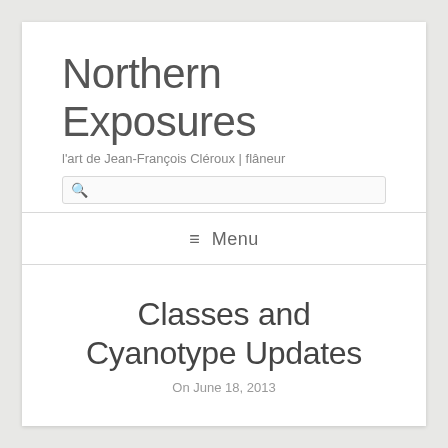Northern Exposures
l'art de Jean-François Cléroux | flâneur
≡ Menu
Classes and Cyanotype Updates
On June 18, 2013
So I haven't been very photographically productive in the last few weeks as I have been very busy with work and as usual in the